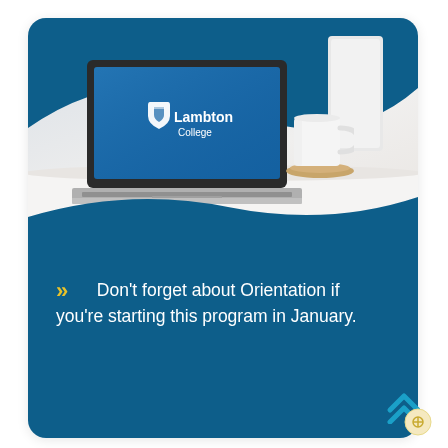[Figure (photo): Photo of a laptop on a white desk showing the Lambton College logo and name on screen, with a white mug on a wooden coaster to the right, and a white panel/wall in the background. The card has blue curved decorations at the top and bottom of the photo section.]
Don't forget about Orientation if you're starting this program in January.